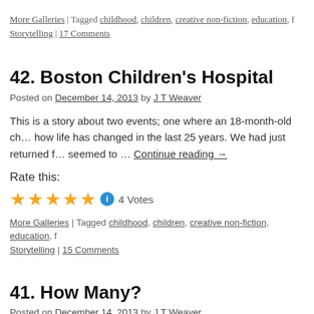More Galleries | Tagged childhood, children, creative non-fiction, education, f… Storytelling | 17 Comments
42. Boston Children's Hospital
Posted on December 14, 2013 by J T Weaver
This is a story about two events; one where an 18-month-old ch… how life has changed in the last 25 years. We had just returned f… seemed to … Continue reading →
Rate this:
[Figure (other): 5 gold star rating icons followed by a blue info icon and '4 Votes' text]
More Galleries | Tagged childhood, children, creative non-fiction, education, f… Storytelling | 15 Comments
41. How Many?
Posted on December 14, 2013 by J T Weaver